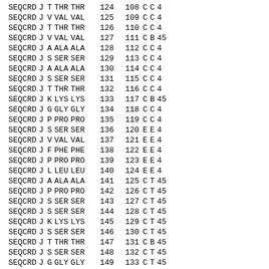| SEQCRD | J | T | THR | THR | 124 | 108 | C | C | 4 |
| SEQCRD | J | V | VAL | VAL | 125 | 109 | C | C | 4 |
| SEQCRD | J | T | THR | THR | 126 | 110 | C | C | 4 |
| SEQCRD | J | V | VAL | VAL | 127 | 111 | C | B | 45 |
| SEQCRD | J | A | ALA | ALA | 128 | 112 | C | C | 4 |
| SEQCRD | J | S | SER | SER | 129 | 113 | C | C | 4 |
| SEQCRD | J | A | ALA | ALA | 130 | 114 | C | C | 4 |
| SEQCRD | J | S | SER | SER | 131 | 115 | C | C | 4 |
| SEQCRD | J | T | THR | THR | 132 | 116 | C | C | 4 |
| SEQCRD | J | K | LYS | LYS | 133 | 117 | C | B | 45 |
| SEQCRD | J | G | GLY | GLY | 134 | 118 | C | C | 4 |
| SEQCRD | J | P | PRO | PRO | 135 | 119 | C | C | 4 |
| SEQCRD | J | S | SER | SER | 136 | 120 | E | E | 4 |
| SEQCRD | J | V | VAL | VAL | 137 | 121 | E | E | 4 |
| SEQCRD | J | F | PHE | PHE | 138 | 122 | E | E | 4 |
| SEQCRD | J | P | PRO | PRO | 139 | 123 | E | E | 4 |
| SEQCRD | J | L | LEU | LEU | 140 | 124 | E | E | 4 |
| SEQCRD | J | A | ALA | ALA | 141 | 125 | C | T | 45 |
| SEQCRD | J | P | PRO | PRO | 142 | 126 | C | T | 45 |
| SEQCRD | J | S | SER | SER | 143 | 127 | C | T | 45 |
| SEQCRD | J | S | SER | SER | 144 | 128 | C | T | 45 |
| SEQCRD | J | K | LYS | LYS | 145 | 129 | C | T | 45 |
| SEQCRD | J | S | SER | SER | 146 | 130 | C | T | 45 |
| SEQCRD | J | T | THR | THR | 147 | 131 | C | B | 45 |
| SEQCRD | J | S | SER | SER | 148 | 132 | C | T | 45 |
| SEQCRD | J | G | GLY | GLY | 149 | 133 | C | T | 45 |
| SEQCRD | J | G | GLY | GLY | 150 | 134 | C | T | 45 |
| SEQCRD | J | T | THR | THR | 151 | 135 | E | E | 4 |
| SEQCRD | J | A | ALA | ALA | 152 | 136 | E | E | 4 |
| SEQCRD | J | A | ALA | ALA | 153 | 137 | E | E | 4 |